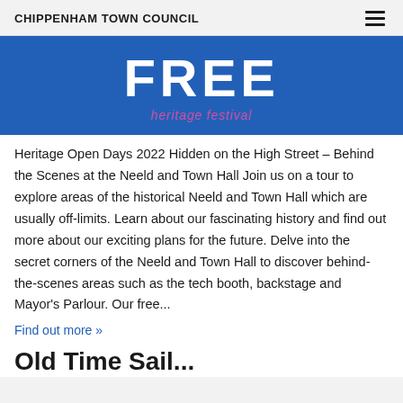CHIPPENHAM TOWN COUNCIL
[Figure (illustration): Blue banner with large white bold text 'FREE' and pink italic text 'heritage festival' below it on a royal blue background.]
Heritage Open Days 2022 Hidden on the High Street – Behind the Scenes at the Neeld and Town Hall Join us on a tour to explore areas of the historical Neeld and Town Hall which are usually off-limits. Learn about our fascinating history and find out more about our exciting plans for the future. Delve into the secret corners of the Neeld and Town Hall to discover behind-the-scenes areas such as the tech booth, backstage and Mayor's Parlour. Our free...
Find out more »
Old Time Sail...